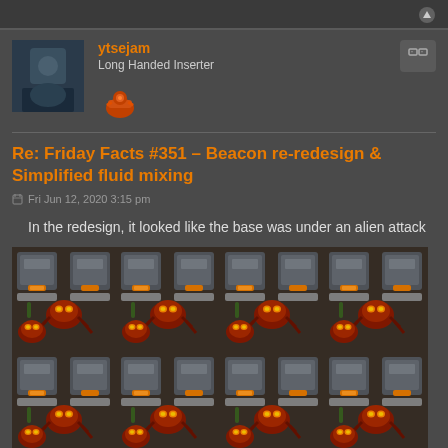ytsejam
Long Handed Inserter
Re: Friday Facts #351 - Beacon re-redesign & Simplified fluid mixing
Fri Jun 12, 2020 3:15 pm
In the redesign, it looked like the base was under an alien attack
[Figure (screenshot): Screenshot from Factorio game showing a grid of alien biters (spider-like enemies with glowing orange eyes) attacking a factory base with beacons and machines, repeated in a tile pattern]